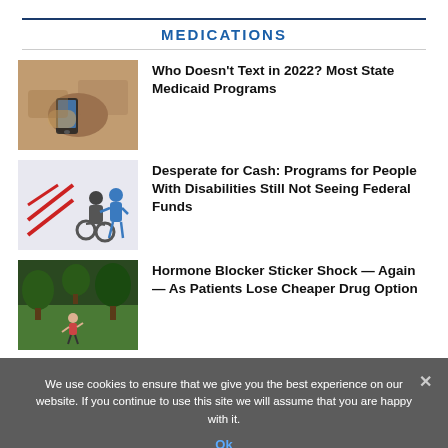MEDICATIONS
[Figure (photo): Person holding a smartphone]
Who Doesn't Text in 2022? Most State Medicaid Programs
[Figure (illustration): Cartoon of a healthcare worker pushing a person in a wheelchair, with red barriers]
Desperate for Cash: Programs for People With Disabilities Still Not Seeing Federal Funds
[Figure (photo): Child running in a park/woodland setting]
Hormone Blocker Sticker Shock — Again — As Patients Lose Cheaper Drug Option
We use cookies to ensure that we give you the best experience on our website. If you continue to use this site we will assume that you are happy with it.
Ok